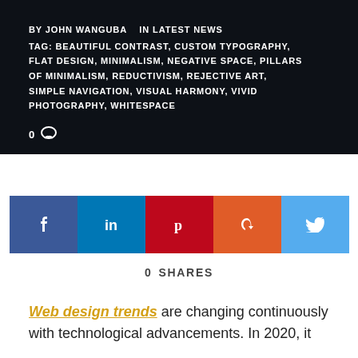BY JOHN WANGUBA   IN LATEST NEWS
TAG: BEAUTIFUL CONTRAST, CUSTOM TYPOGRAPHY, FLAT DESIGN, MINIMALISM, NEGATIVE SPACE, PILLARS OF MINIMALISM, REDUCTIVISM, REJECTIVE ART, SIMPLE NAVIGATION, VISUAL HARMONY, VIVID PHOTOGRAPHY, WHITESPACE
0 [comment icon]
[Figure (other): Social share buttons: Facebook, LinkedIn, Pinterest, StumbleUpon, Twitter]
0  SHARES
Web design trends are changing continuously with technological advancements. In 2020, it